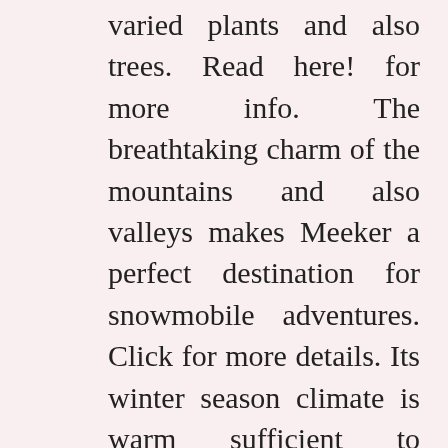varied plants and also trees. Read here! for more info. The breathtaking charm of the mountains and also valleys makes Meeker a perfect destination for snowmobile adventures. Click for more details. Its winter season climate is warm sufficient to accommodate teams of all levels. Discover more about this link. You can also select to lease a sled if you wish. Learn more about this homepage. The Meeker snowmobile scenic tours are a terrific method to discover the city. Check now! for more info. You can pick from two- and three-hour trips. You can rent a sled or take place an assisted tour. Read more about this website. You'll be surprised at the sensational views as well as gorgeous landscapes of this area. Check here! for more info. You'll never get tired of the mountain surroundings as well as the beauty of the woodland. Click for more details. Its 1.2 million acres are quickly available from Denver. If you want to experience the elegance of the White River National Park, you'll wish